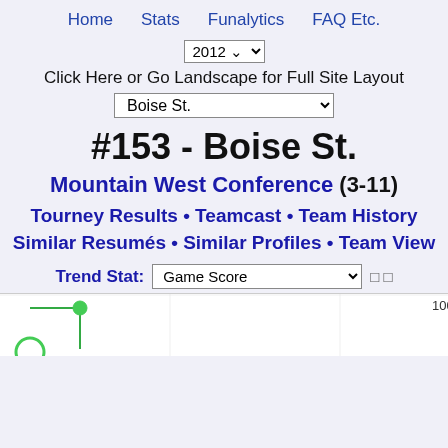Home   Stats   Funalytics   FAQ Etc.
2012
Click Here or Go Landscape for Full Site Layout
Boise St.
#153 - Boise St.
Mountain West Conference (3-11)
Tourney Results • Teamcast • Team History
Similar Resumés • Similar Profiles • Team View
Trend Stat: Game Score
[Figure (line-chart): Partial line chart showing game score trend with a green dot near the left at ~100 level, chart is cut off at bottom of page]